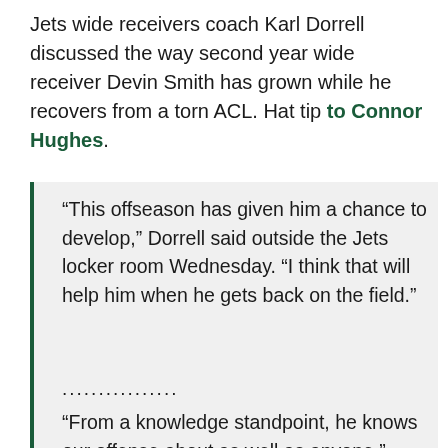Jets wide receivers coach Karl Dorrell discussed the way second year wide receiver Devin Smith has grown while he recovers from a torn ACL. Hat tip to Connor Hughes.
“This offseason has given him a chance to develop,” Dorrell said outside the Jets locker room Wednesday. “I think that will help him when he gets back on the field.”
.................
“From a knowledge standpoint, he knows our offense about as well as anyone,” Dorrell said. “I think it was different a year ago at this time. He knows everything, it’s just a matter of him knocking the rust off and getting used to how we do things and the speed.